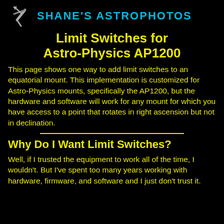SHANE'S ASTROPHOTOS
Limit Switches for Astro-Physics AP1200
This page shows one way to add limit switches to an equatorial mount. This implementation is customized for Astro-Physics mounts, specifically the AP1200, but the hardware and software will work for any mount for which you have access to a point that rotates in right ascension but not in declination.
Why Do I Want Limit Switches?
Well, if I trusted the equipment to work all of the time, I wouldn't. But I've spent too many years working with hardware, firmware, and software and I just don't trust it.